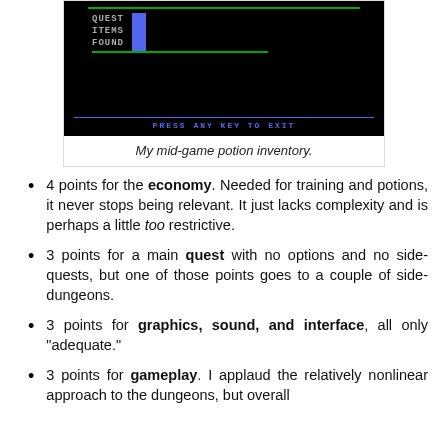[Figure (screenshot): A retro game screenshot with black background showing 'QUEST ITEMS FOUND' text with a blue rectangle indicator, green horizontal lines, and a blue 'PRESS ANY KEY TO EXIT' prompt at the bottom.]
My mid-game potion inventory.
4 points for the economy. Needed for training and potions, it never stops being relevant. It just lacks complexity and is perhaps a little too restrictive.
3 points for a main quest with no options and no side-quests, but one of those points goes to a couple of side-dungeons.
3 points for graphics, sound, and interface, all only "adequate."
3 points for gameplay. I applaud the relatively nonlinear approach to the dungeons, but overall